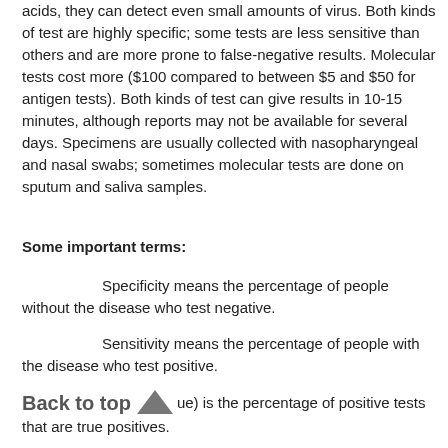acids, they can detect even small amounts of virus. Both kinds of test are highly specific; some tests are less sensitive than others and are more prone to false-negative results. Molecular tests cost more ($100 compared to between $5 and $50 for antigen tests). Both kinds of test can give results in 10-15 minutes, although reports may not be available for several days. Specimens are usually collected with nasopharyngeal and nasal swabs; sometimes molecular tests are done on sputum and saliva samples.
Some important terms:
Specificity means the percentage of people without the disease who test negative.
Sensitivity means the percentage of people with the disease who test positive.
PPV (positive predictive value) is the percentage of positive tests that are true positives.